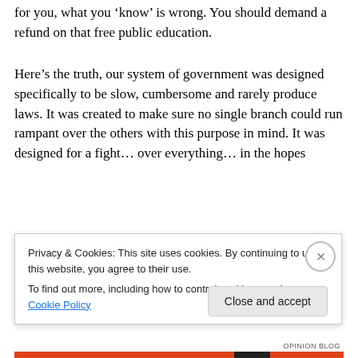for you, what you 'know' is wrong. You should demand a refund on that free public education.
Here’s the truth, our system of government was designed specifically to be slow, cumbersome and rarely produce laws. It was created to make sure no single branch could run rampant over the others with this purpose in mind. It was designed for a fight… over everything… in the hopes that…
Privacy & Cookies: This site uses cookies. By continuing to use this website, you agree to their use. To find out more, including how to control cookies, see here: Cookie Policy
Close and accept